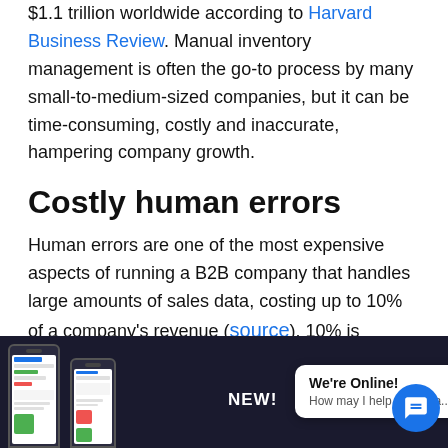$1.1 trillion worldwide according to Harvard Business Review. Manual inventory management is often the go-to process by many small-to-medium-sized companies, but it can be time-consuming, costly and inaccurate, hampering company growth.
Costly human errors
Human errors are one of the most expensive aspects of running a B2B company that handles large amounts of sales data, costing up to 10% of a company's revenue (source). 10% is alarming
[Figure (screenshot): Bottom overlay bar showing phone app mockups, 'NEW!' text, a chat popup saying 'We're Online! How may I help you toda...', and a blue chat icon button.]